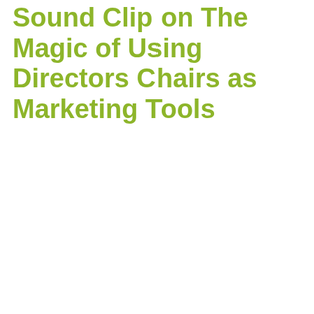Sound Clip on The Magic of Using Directors Chairs as Marketing Tools